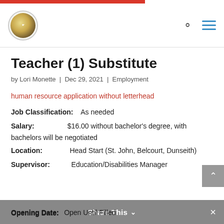Teacher (1) Substitute - by Lori Monette | Dec 29, 2021 | Employment
Teacher (1) Substitute
by Lori Monette  |  Dec 29, 2021  |  Employment
human resource application without letterhead
Job Classification:   As needed
Salary:   $16.00 without bachelor's degree, with bachelors will be negotiated
Location:   Head Start (St. John, Belcourt, Dunseith)
Supervisor:   Education/Disabilities Manager
Opening Date:   Open Until Filled